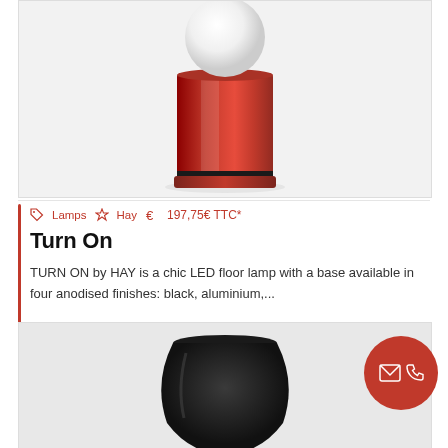[Figure (photo): Red cylindrical LED lamp base with white spherical globe on top, photographed on white background]
Lamps  Hay  197,75€ TTC*
Turn On
TURN ON by HAY is a chic LED floor lamp with a base available in four anodised finishes: black, aluminium,...
[Figure (photo): Black vase-shaped lamp base, partially visible, on light background]